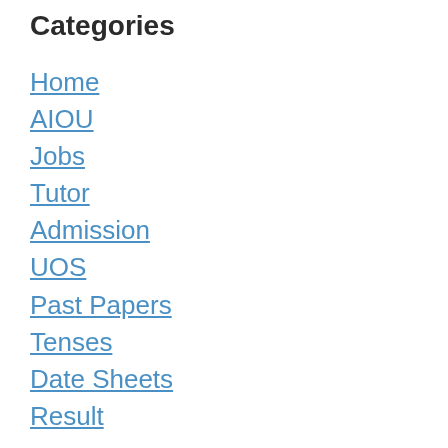Categories
Home
AIOU
Jobs
Tutor
Admission
UOS
Past Papers
Tenses
Date Sheets
Result